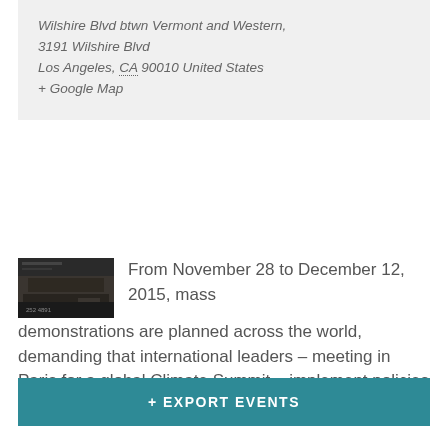Wilshire Blvd btwn Vermont and Western, 3191 Wilshire Blvd
Los Angeles, CA 90010 United States
+ Google Map
[Figure (photo): Thumbnail image of a demonstration or event, dark toned photo]
From November 28 to December 12, 2015, mass demonstrations are planned across the world, demanding that international leaders – meeting in Paris for a global Climate Summit – implement policies to stop…
Find out more »
+ EXPORT EVENTS